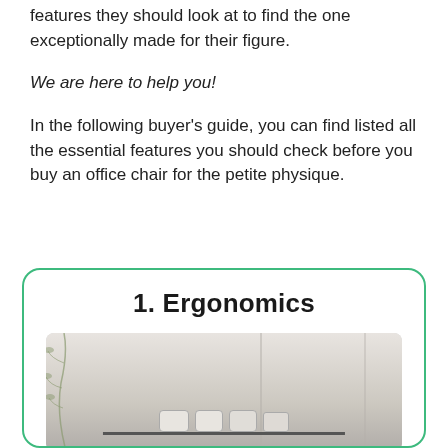features they should look at to find the one exceptionally made for their figure.
We are here to help you!
In the following buyer's guide, you can find listed all the essential features you should check before you buy an office chair for the petite physique.
1. Ergonomics
[Figure (photo): Photo of white electronic devices/routers on a dark shelf against a light background, with a decorative plant or vine visible on the left side.]